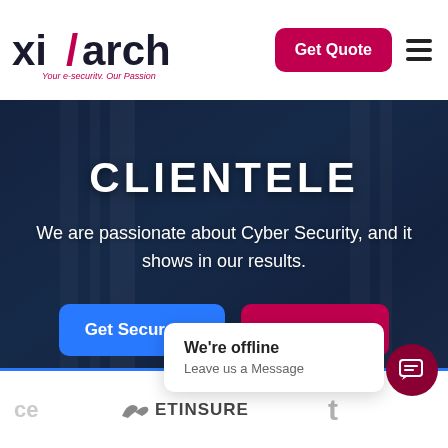[Figure (logo): xicarch logo with tagline 'Your e-security. Our Passion']
Get Quote
CLIENTELE
We are passionate about Cyber Security, and it shows in our results.
Get Secured »
Get Quote »
[Figure (logo): ETInsure logo with bird icon]
We're offline
Leave us a Message